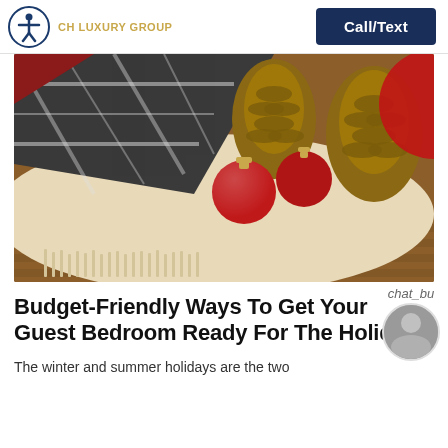CH LUXURY GROUP | Call/Text
[Figure (photo): Holiday scene with plaid blanket, cream fringe throw, pine cones, and red Christmas ornament balls on a wooden surface]
Budget-Friendly Ways To Get Your Guest Bedroom Ready For The Holidays
The winter and summer holidays are the two